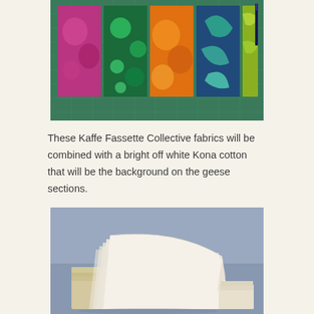[Figure (photo): Colorful Kaffe Fassette Collective fabric squares arranged on a green cutting mat. Fabrics feature vibrant floral and botanical prints in pink, purple, green, orange, yellow, and teal.]
These Kaffe Fassette Collective fabrics will be combined with a bright off white Kona cotton that will be the background on the geese sections.
[Figure (photo): A stack of cream/off-white fabric pieces fanned out on a light blue background, showing the Kona cotton material.]